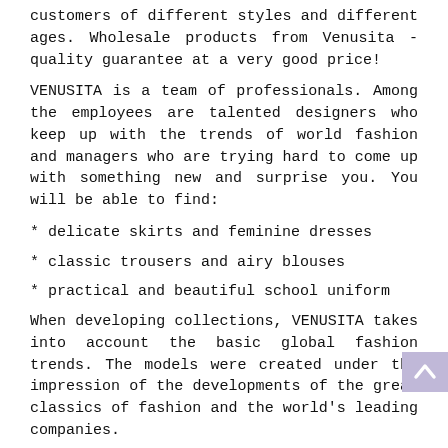customers of different styles and different ages. Wholesale products from Venusita - quality guarantee at a very good price!
VENUSITA is a team of professionals. Among the employees are talented designers who keep up with the trends of world fashion and managers who are trying hard to come up with something new and surprise you. You will be able to find:
* delicate skirts and feminine dresses
* classic trousers and airy blouses
* practical and beautiful school uniform
When developing collections, VENUSITA takes into account the basic global fashion trends. The models were created under the impression of the developments of the great classics of fashion and the world's leading companies.
You can order the product on the manufacturer's website, his contacts are provided below